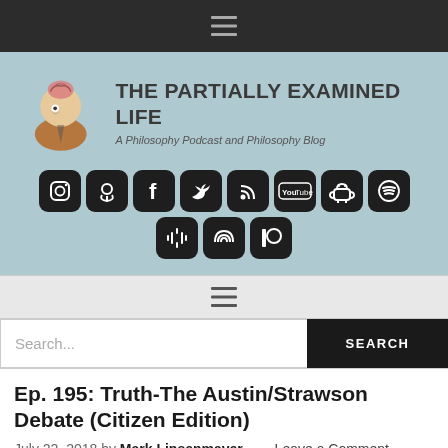☰ (hamburger menu icon)
[Figure (logo): The Partially Examined Life logo: cartoon figure of a man examining his own brain, beside site title 'THE PARTIALLY EXAMINED LIFE' and subtitle 'A Philosophy Podcast and Philosophy Blog']
[Figure (infographic): Row of social media icon buttons: Instagram, Podcast, Facebook, Twitter, RSS, YouTube, Android, Spotify, Google Podcasts, Audible, and Patreon]
☰ (hamburger menu icon, second nav bar)
Search...
Ep. 195: Truth-The Austin/Strawson Debate (Citizen Edition)
July 22, 2018 by Mark Linsenmayer — Leave a Comment
On two articles in the "ordin...